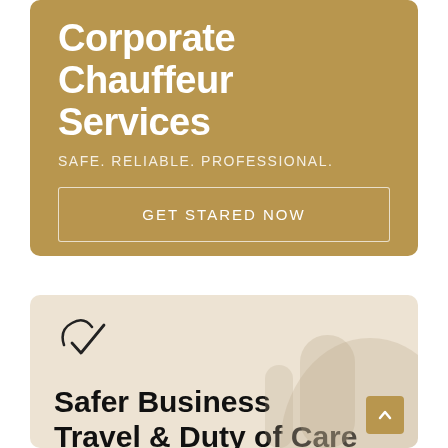Corporate Chauffeur Services
SAFE. RELIABLE. PROFESSIONAL.
GET STARED NOW
[Figure (illustration): Decorative arch/building silhouette shapes in muted beige tones on bottom section background]
Safer Business Travel & Duty of Care